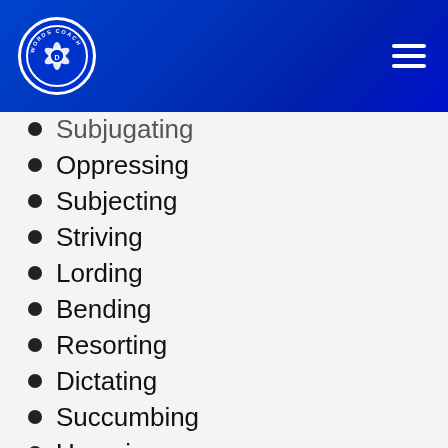Words Coach
Subjugating
Oppressing
Subjecting
Striving
Lording
Bending
Resorting
Dictating
Succumbing
Usurping